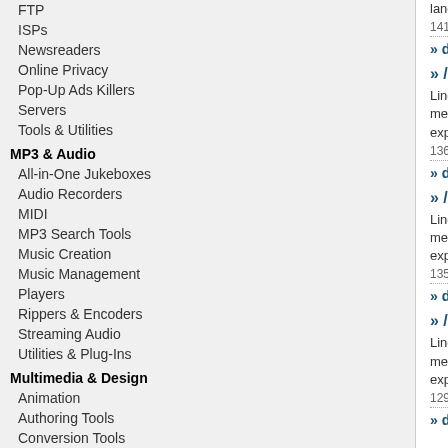FTP
ISPs
Newsreaders
Online Privacy
Pop-Up Ads Killers
Servers
Tools & Utilities
MP3 & Audio
All-in-One Jukeboxes
Audio Recorders
MIDI
MP3 Search Tools
Music Creation
Music Management
Players
Rippers & Encoders
Streaming Audio
Utilities & Plug-Ins
Multimedia & Design
Animation
Authoring Tools
Conversion Tools
Font Tools
Illustration
Image Editing
Video
Software Developer
languages as yo...
1411KB |Sharewar...
» details
» /Educatio...
LingvoSoft Flash... memorize thous... expand your voc...
1368KB |Sharewar...
» details
» /Educatio...
LingvoSoft Flash... memorize thous... expand your voc...
1355KB |Sharewar...
» details
» /Educatio...
LingvoSoft Flash... memorize thous... expand your voc...
1299KB |Sharewar...
» details